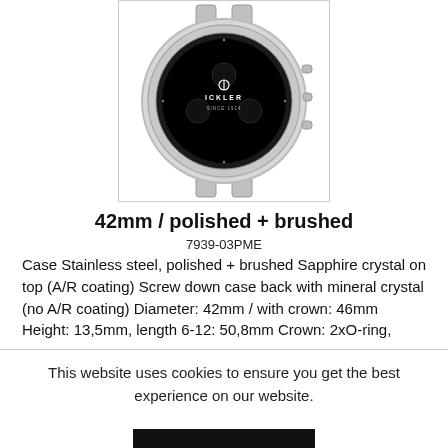[Figure (photo): Watch face/case image: a round chronograph watch with black dial, silver case with pushers on the right side, ICKLER branding on the dial, shown without a strap. Displayed inside a bordered rectangle.]
42mm / polished + brushed
7939-03PME
Case Stainless steel, polished + brushed Sapphire crystal on top (A/R coating) Screw down case back with mineral crystal (no A/R coating) Diameter: 42mm / with crown: 46mm Height: 13,5mm, length 6-12: 50,8mm Crown: 2xO-ring,
This website uses cookies to ensure you get the best experience on our website.
Accept